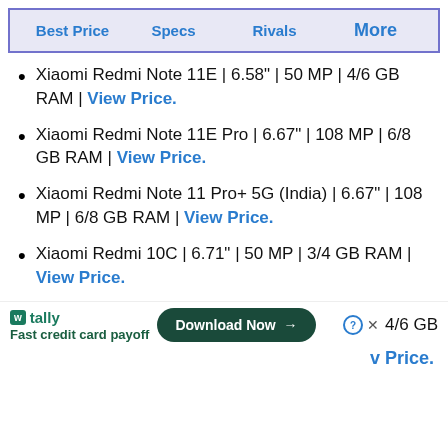Best Price | Specs | Rivals | More
Xiaomi Redmi Note 11E | 6.58" | 50 MP | 4/6 GB RAM | View Price.
Xiaomi Redmi Note 11E Pro | 6.67" | 108 MP | 6/8 GB RAM | View Price.
Xiaomi Redmi Note 11 Pro+ 5G (India) | 6.67" | 108 MP | 6/8 GB RAM | View Price.
Xiaomi Redmi 10C | 6.71" | 50 MP | 3/4 GB RAM | View Price.
[Figure (infographic): Advertisement banner: Tally app - Fast credit card payoff, with Download Now button, close button, 4/6 GB label]
v Price.